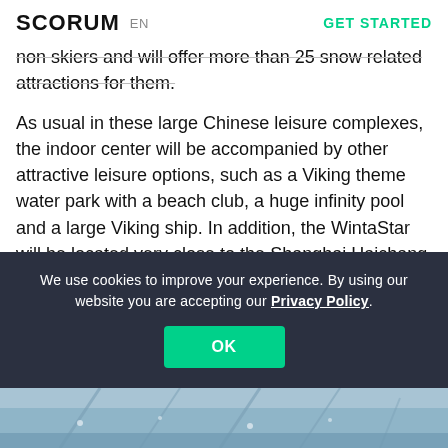SCORUM EN | GET STARTED
non skiers and will offer more than 25 snow related attractions for them.
As usual in these large Chinese leisure complexes, the indoor center will be accompanied by other attractive leisure options, such as a Viking theme water park with a beach club, a huge infinity pool and a large Viking ship. In addition, the WintaStar will be located very close to the Shanghai Haichang Marine Park, which will open next month, with a wide variety of Arctic and Antarctic fauna.
We use cookies to improve your experience. By using our website you are accepting our Privacy Policy.
OK
[Figure (photo): Bottom strip showing what appears to be an indoor ski slope or large structure, partially visible]